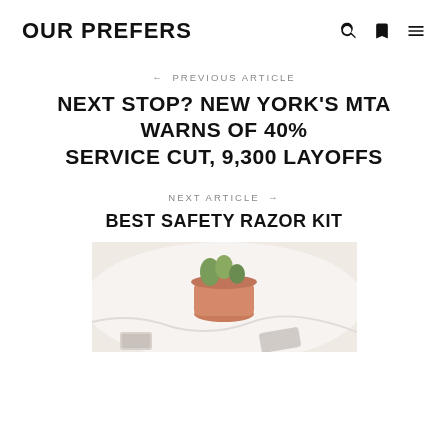OUR PREFERS
← PREVIOUS ARTICLE
NEXT STOP? NEW YORK'S MTA WARNS OF 40% SERVICE CUT, 9,300 LAYOFFS
NEXT ARTICLE →
BEST SAFETY RAZOR KIT
[Figure (photo): A small terracotta pot with a succulent plant on a white fabric background, with razor kit items visible at the bottom]